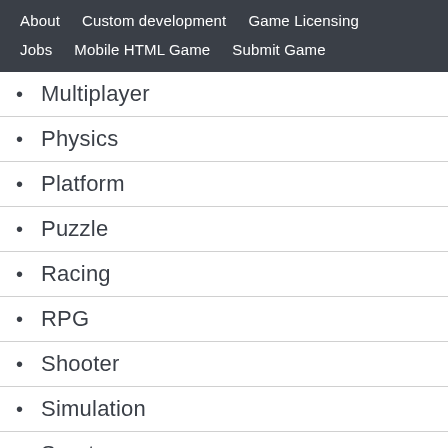About   Custom development   Game Licensing   Jobs   Mobile HTML Game   Submit Game
Multiplayer
Physics
Platform
Puzzle
Racing
RPG
Shooter
Simulation
Sports
Strategy